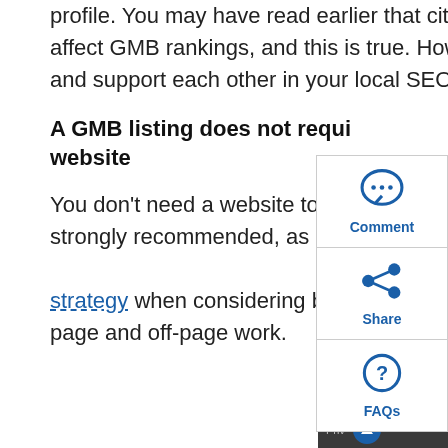profile. You may have read earlier that citation listings can positively affect GMB rankings, and this is true. However, the two are separate and support each other in your local SEO strategy.
A GMB listing does not require a website
You don't need a website to create a GMB listing, but a website is strongly recommended, as it forms the foundation of an effective strategy when considering both on-page and off-page work.
[Figure (infographic): Floating side panel with three buttons: Comment (speech bubble icon), Share (share icon), FAQs (question mark icon)]